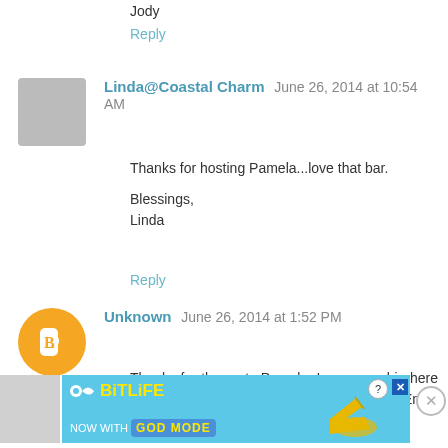Jody
Reply
Linda@Coastal Charm  June 26, 2014 at 10:54 AM
Thanks for hosting Pamela...love that bar.

Blessings,
Linda
Reply
Unknown  June 26, 2014 at 1:52 PM
Thanks for the party Pamela. I am a newbie here but have been following for some time. Enjoy your blog so much!
Reply
[Figure (infographic): BitLife advertisement banner: NOW WITH GOD MODE]